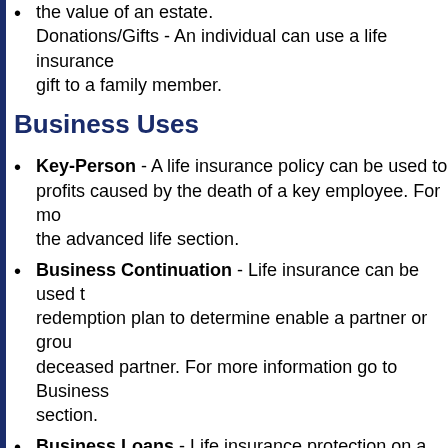Donations/Gifts - An individual can use a life insurance gift to a family member.
Business Uses
Key-Person - A life insurance policy can be used to protect profits caused by the death of a key employee. For more information go to the advanced life section.
Business Continuation - Life insurance can be used to fund a redemption plan to determine enable a partner or group to buy the deceased partner. For more information go to Business Continuation section.
Business Loans - Life insurance protection on a key employee to pay off the debts of a business in the event of that individual's death.
Employee Benefits - Life insurance protection for employees through employee benefits plans.
Determining your needs